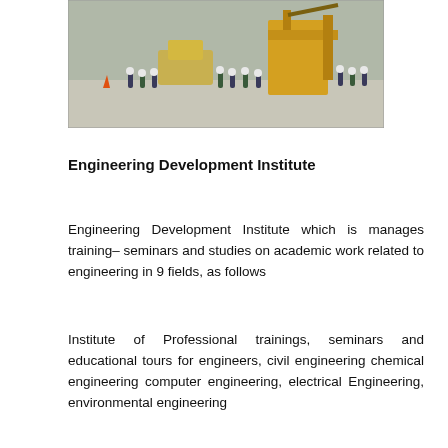[Figure (photo): Outdoor construction or industrial site scene with workers in white hard hats and blue uniforms standing on a concrete area, with yellow heavy machinery (crane/drill rig) visible in the background and traffic cones.]
Engineering Development Institute
Engineering Development Institute which is manages training– seminars and studies on academic work related to engineering in 9 fields, as follows
Institute of Professional trainings, seminars and educational tours for engineers, civil engineering chemical engineering computer engineering, electrical Engineering, environmental engineering